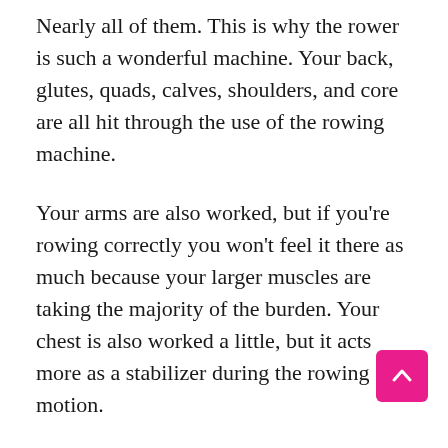Nearly all of them. This is why the rower is such a wonderful machine. Your back, glutes, quads, calves, shoulders, and core are all hit through the use of the rowing machine.
Your arms are also worked, but if you're rowing correctly you won't feel it there as much because your larger muscles are taking the majority of the burden. Your chest is also worked a little, but it acts more as a stabilizer during the rowing motion.
You should have your core engaged the entire time to protect your lower back. This means